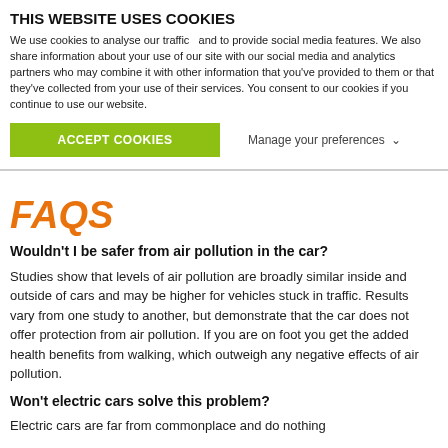THIS WEBSITE USES COOKIES
We use cookies to analyse our traffic   and to provide social media features. We also share information about your use of our site with our social media and analytics partners who may combine it with other information that you've provided to them or that they've collected from your use of their services. You consent to our cookies if you continue to use our website.
ACCEPT COOKIES
Manage your preferences ∨
FAQS
Wouldn't I be safer from air pollution in the car?
Studies show that levels of air pollution are broadly similar inside and outside of cars and may be higher for vehicles stuck in traffic. Results vary from one study to another, but demonstrate that the car does not offer protection from air pollution. If you are on foot you get the added health benefits from walking, which outweigh any negative effects of air pollution.
Won't electric cars solve this problem?
Electric cars are far from commonplace and do nothing